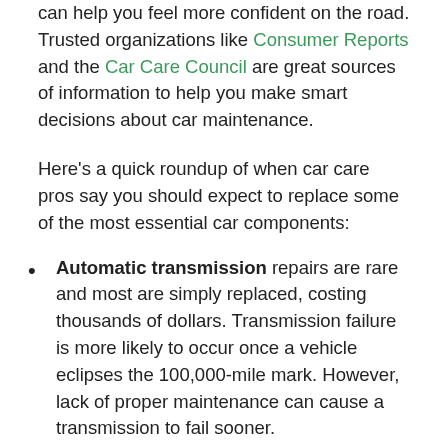can help you feel more confident on the road. Trusted organizations like Consumer Reports and the Car Care Council are great sources of information to help you make smart decisions about car maintenance.
Here's a quick roundup of when car care pros say you should expect to replace some of the most essential car components:
Automatic transmission repairs are rare and most are simply replaced, costing thousands of dollars. Transmission failure is more likely to occur once a vehicle eclipses the 100,000-mile mark. However, lack of proper maintenance can cause a transmission to fail sooner.